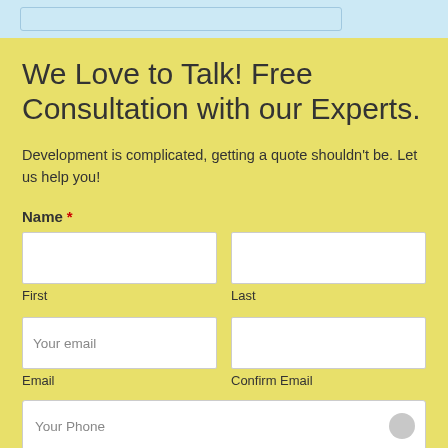We Love to Talk! Free Consultation with our Experts.
Development is complicated, getting a quote shouldn't be. Let us help you!
Name *
First
Last
Your email
Email
Confirm Email
Your Phone